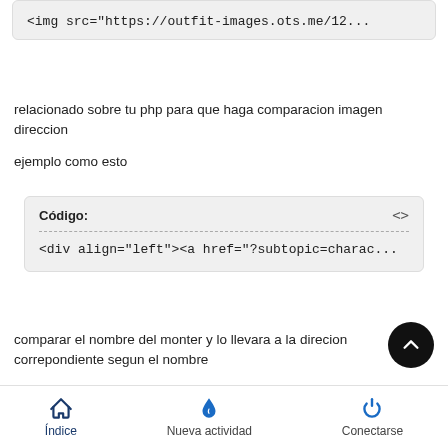<img src="https://outfit-images.ots.me/12...
relacionado sobre tu php para que haga comparacion imagen direccion
ejemplo como esto
Código:
<div align="left"><a href="?subtopic=charac...
comparar el nombre del monter y lo llevara a la direcion correpondiente segun el nombre
Índice   Nueva actividad   Conectarse